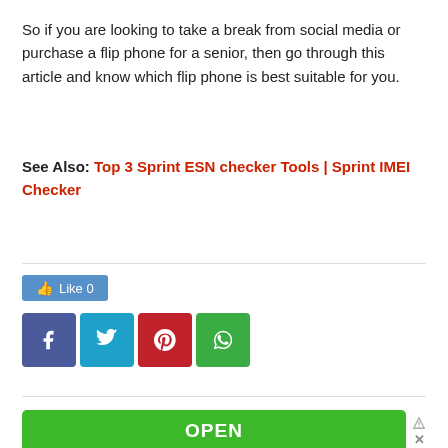So if you are looking to take a break from social media or purchase a flip phone for a senior, then go through this article and know which flip phone is best suitable for you.
See Also: Top 3 Sprint ESN checker Tools | Sprint IMEI Checker
[Figure (infographic): Social sharing buttons section: Facebook Like button showing count 0, and four share buttons for Facebook, Twitter, Pinterest, and WhatsApp]
[Figure (infographic): Advertisement banner with green OPEN button and text 'Real-time Location Updates', with Ad label]